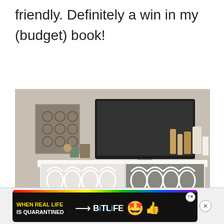friendly. Definitely a win in my (budget) book!
[Figure (photo): A white dresser/chest of drawers with decorative Moroccan-style lattice overlays on the drawer fronts, with mirrored backing showing a crushed velvet or stone effect. A TV and various items are on top of the dresser. The dresser is in a home bedroom setting.]
[Figure (other): BitLife advertisement banner with rainbow stripe, black background, text reading WHEN REAL LIFE IS QUARANTINED with BiTLiFE logo and emoji characters (star-eyes face with mask, thumbs up). Close buttons visible.]